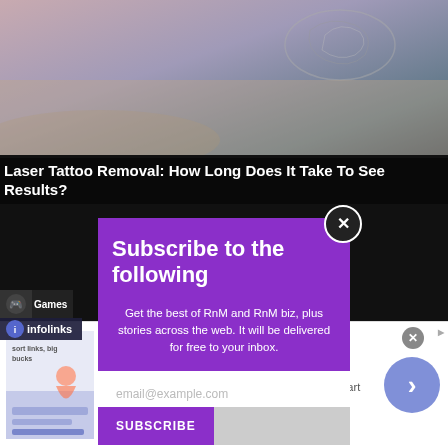[Figure (photo): Background photo showing a tattoo on skin, partially visible at the top of the page]
Laser Tattoo Removal: How Long Does It Take To See Results?
Subscribe to the following
Get the best of RnM and RnM biz, plus stories across the web. It will be delivered for free to your inbox.
email@example.com
SUBSCRIBE
[Figure (screenshot): Bottom advertisement banner: 40% off Womens Clothing - Save 40% now on women clothing at Ashley Stewart - bit.ly]
40% off Womens Clothing
Save 40% now on women clothing at Ashley Stewart
bit.ly